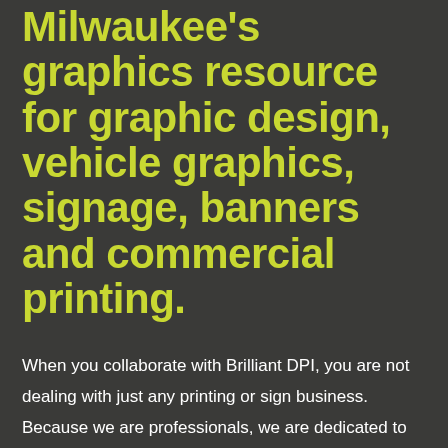Milwaukee's graphics resource for graphic design, vehicle graphics, signage, banners and commercial printing.
When you collaborate with Brilliant DPI, you are not dealing with just any printing or sign business. Because we are professionals, we are dedicated to improving the look, feel, and overall quality of your commercial printing – everything from business cards to billboards. We custom